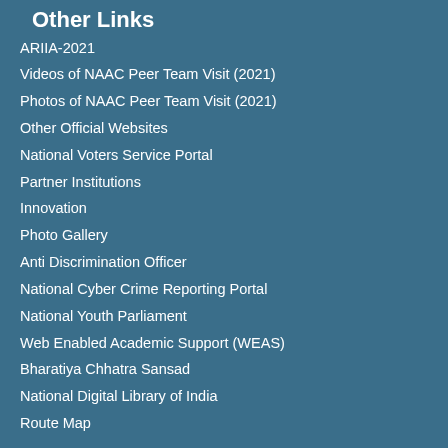Other Links
ARIIA-2021
Videos of NAAC Peer Team Visit (2021)
Photos of NAAC Peer Team Visit (2021)
Other Official Websites
National Voters Service Portal
Partner Institutions
Innovation
Photo Gallery
Anti Discrimination Officer
National Cyber Crime Reporting Portal
National Youth Parliament
Web Enabled Academic Support (WEAS)
Bharatiya Chhatra Sansad
National Digital Library of India
Route Map
Student Section II
Daily Schedule of Videos Telecast for Swayamprabha Channels
Audio Resources of EMPC
Video Resources of EMPC